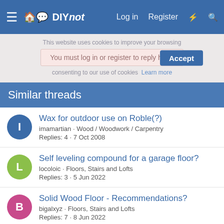DIYnot — Log in  Register
This website uses cookies to improve your browsing experience. You must log in or register to reply here. consenting to our use of cookies  Learn more
Similar threads
Wax for outdoor use on Roble(?)
imamartian · Wood / Woodwork / Carpentry
Replies: 4 · 7 Oct 2008
Self leveling compound for a garage floor?
locoloic · Floors, Stairs and Lofts
Replies: 3 · 5 Jun 2022
Solid Wood Floor - Recommendations?
bigalxyz · Floors, Stairs and Lofts
Replies: 7 · 8 Jun 2022
chkdsk oh dear
breezer · Software
Replies: 16 · 1 Aug 2006